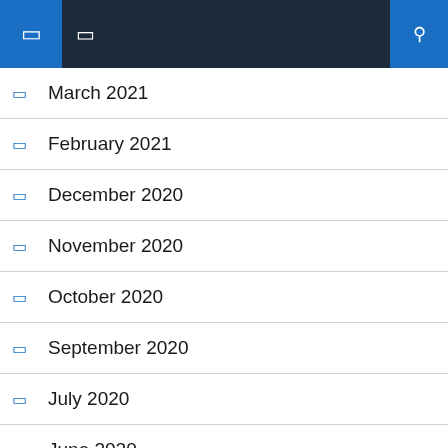Navigation bar with icons
March 2021
February 2021
December 2020
November 2020
October 2020
September 2020
July 2020
June 2020
May 2020
April 2020